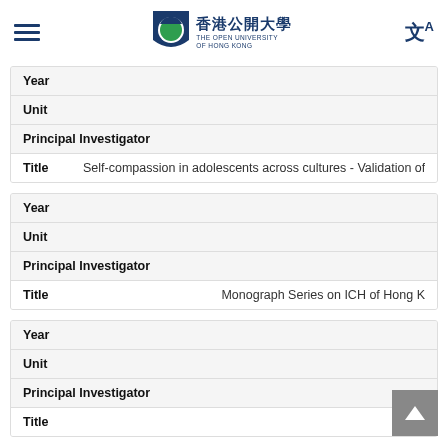The Open University of Hong Kong
| Field | Value |
| --- | --- |
| Year |  |
| Unit |  |
| Principal Investigator |  |
| Title | Self-compassion in adolescents across cultures - Validation of Self-C |
| Field | Value |
| --- | --- |
| Year |  |
| Unit |  |
| Principal Investigator |  |
| Title | Monograph Series on ICH of Hong K |
| Field | Value |
| --- | --- |
| Year |  |
| Unit |  |
| Principal Investigator |  |
| Title |  |